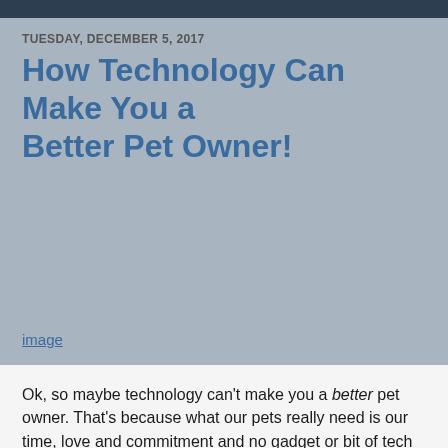TUESDAY, DECEMBER 5, 2017
How Technology Can Make You a Better Pet Owner!
[Figure (other): Image placeholder area (gray background, no image visible)]
image
Ok, so maybe technology can't make you a better pet owner. That's because what our pets really need is our time, love and commitment and no gadget or bit of tech can offer that. However it can certainly make us more efficient pet owners, make life